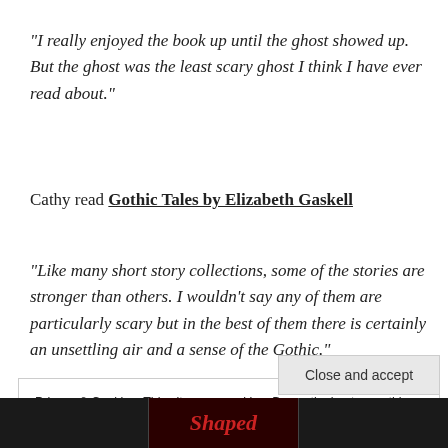“I really enjoyed the book up until the ghost showed up.  But the ghost was the least scary ghost I think I have ever read about.”
Cathy read Gothic Tales by Elizabeth Gaskell
“Like many short story collections, some of the stories are stronger than others.  I wouldn’t say any of them are particularly scary but in the best of them there is certainly an unsettling air and a sense of the Gothic.”
Privacy & Cookies: This site uses cookies. By continuing to use this website, you agree to their use.
To find out more, including how to control cookies, see here: Cookie Policy
Close and accept
[Figure (photo): Image strip at bottom showing three dark image blocks, middle one with red italic text reading 'Shaped']